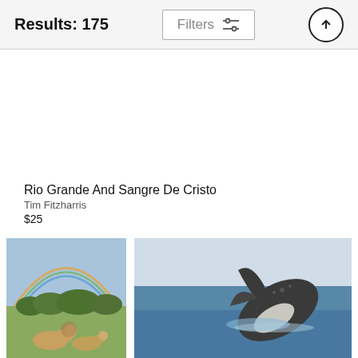Results: 175 | Filters
[Figure (photo): Blank/empty image placeholder area for first search result]
Rio Grande And Sangre De Cristo
Tim Fitzharris
$25
[Figure (photo): Photo of lions resting on savanna with rainbow in background]
[Figure (photo): Photo of humpback whale breaching the ocean surface]